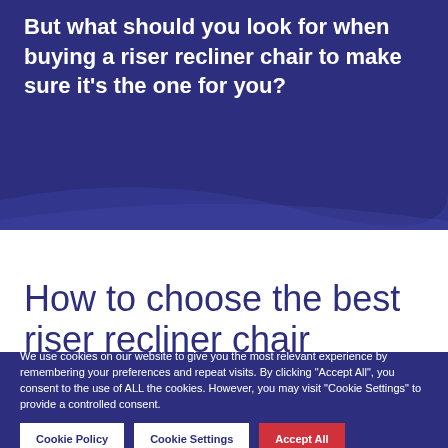But what should you look for when buying a riser recliner chair to make sure it’s the one for you?
How to choose the best riser recliner chair
We use cookies on our website to give you the most relevant experience by remembering your preferences and repeat visits. By clicking “Accept All”, you consent to the use of ALL the cookies. However, you may visit "Cookie Settings" to provide a controlled consent.
Cookie Policy
Cookie Settings
Accept All